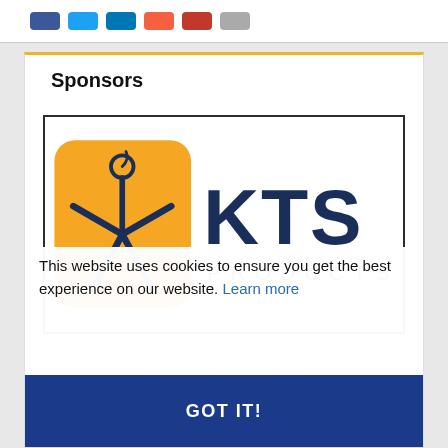[Figure (other): Row of colored social media share/action buttons at top of page]
Sponsors
[Figure (logo): KTS Products logo: orange/gold rounded rectangle with a stylized person figure in dark navy, and the text KTS PRODUCTS in dark navy to the right]
This website uses cookies to ensure you get the best experience on our website. Learn more
GOT IT!